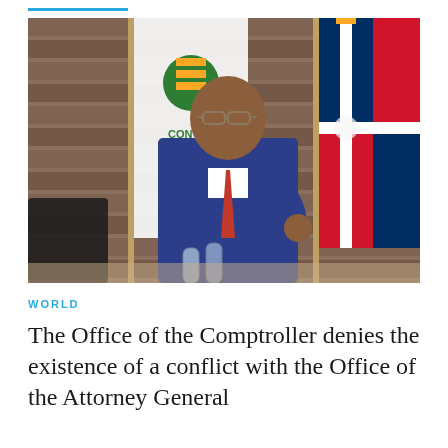[Figure (photo): A man in a blue suit with a red tie gestures with his right hand while speaking. Behind him are two flags: one is a white flag with a green logo reading 'CONT' and another is the Dominican Republic national flag (blue, red, and white with coat of arms). The setting appears to be an official meeting room with wooden paneling.]
WORLD
The Office of the Comptroller denies the existence of a conflict with the Office of the Attorney General